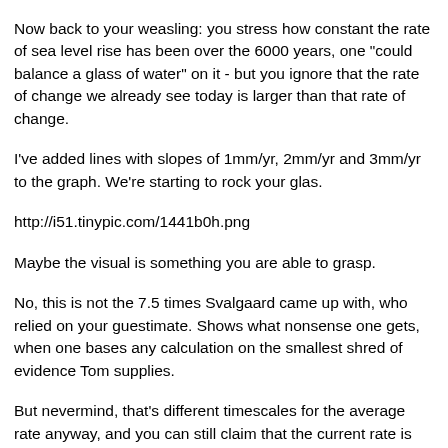Now back to your weasling: you stress how constant the rate of sea level rise has been over the 6000 years, one "could balance a glass of water" on it - but you ignore that the rate of change we already see today is larger than that rate of change.
I've added lines with slopes of 1mm/yr, 2mm/yr and 3mm/yr to the graph. We're starting to rock your glas.
http://i51.tinypic.com/1441b0h.png
Maybe the visual is something you are able to grasp.
No, this is not the 7.5 times Svalgaard came up with, who relied on your guestimate. Shows what nonsense one gets, when one bases any calculation on the smallest shred of evidence Tom supplies.
But nevermind, that's different timescales for the average rate anyway, and you can still claim that the current rate is simply noise. There, Tom, you've got your next denier argument for future blog posts, still being in development...